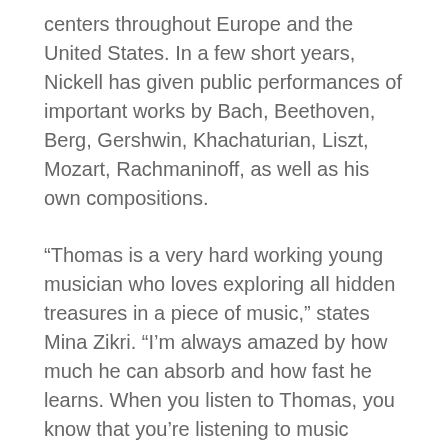centers throughout Europe and the United States. In a few short years, Nickell has given public performances of important works by Bach, Beethoven, Berg, Gershwin, Khachaturian, Liszt, Mozart, Rachmaninoff, as well as his own compositions.
“Thomas is a very hard working young musician who loves exploring all hidden treasures in a piece of music,” states Mina Zikri. “I’m always amazed by how much he can absorb and how fast he learns. When you listen to Thomas, you know that you’re listening to music coming from the heart.”